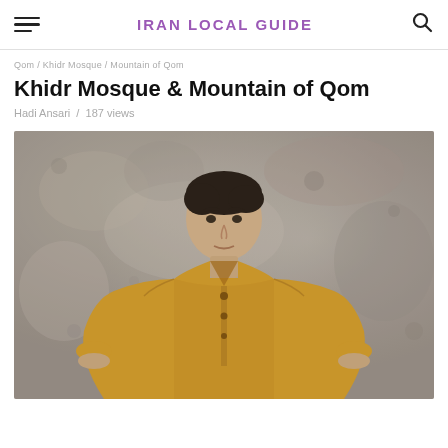IRAN LOCAL GUIDE
Khidr Mosque & Mountain of Qom
Hadi Ansari / 187 views
[Figure (photo): A young man wearing a mustard/tan short-sleeve polo shirt standing in front of a weathered grey concrete wall, looking directly at the camera.]